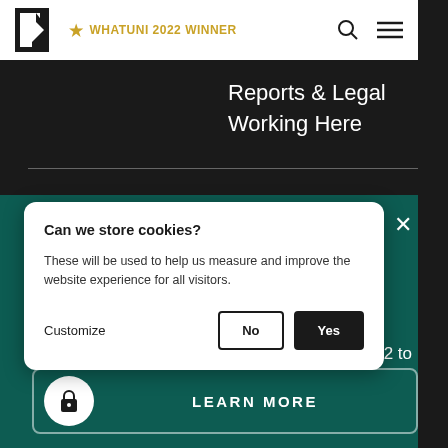WHATUNI 2022 WINNER
Reports & Legal
Working Here
Can we store cookies?
These will be used to help us measure and improve the website experience for all visitors.
Customize   No   Yes
03 402 to
LEARN MORE